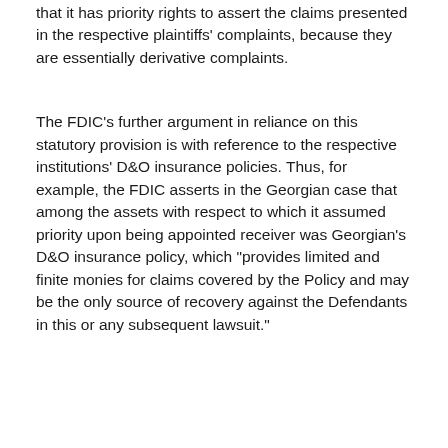that it has priority rights to assert the claims presented in the respective plaintiffs' complaints, because they are essentially derivative complaints.
The FDIC's further argument in reliance on this statutory provision is with reference to the respective institutions' D&O insurance policies. Thus, for example, the FDIC asserts in the Georgian case that among the assets with respect to which it assumed priority upon being appointed receiver was Georgian's D&O insurance policy, which "provides limited and finite monies for claims covered by the Policy and may be the only source of recovery against the Defendants in this or any subsequent lawsuit."